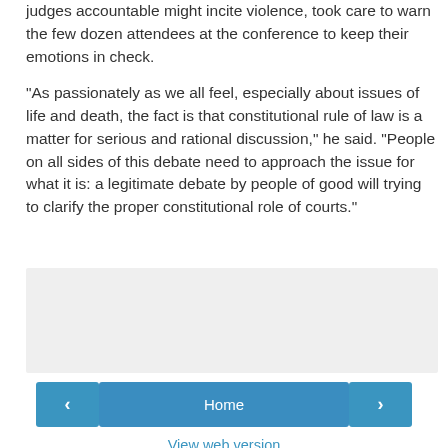judges accountable might incite violence, took care to warn the few dozen attendees at the conference to keep their emotions in check.
"As passionately as we all feel, especially about issues of life and death, the fact is that constitutional rule of law is a matter for serious and rational discussion," he said. "People on all sides of this debate need to approach the issue for what it is: a legitimate debate by people of good will trying to clarify the proper constitutional role of courts."
[Figure (other): Gray placeholder box for an embedded advertisement or widget]
‹   Home   ›
View web version
Powered by Blogger.